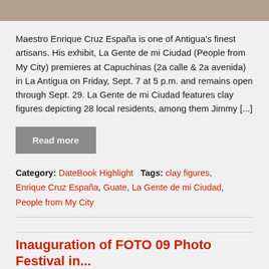[Figure (photo): Partial view of a photo showing hands and a dark object, cropped at the top of the page]
Maestro Enrique Cruz España is one of Antigua's finest artisans. His exhibit, La Gente de mi Ciudad (People from My City) premieres at Capuchinas (2a calle & 2a avenida) in La Antigua on Friday, Sept. 7 at 5 p.m. and remains open through Sept. 29. La Gente de mi Ciudad features clay figures depicting 28 local residents, among them Jimmy [...]
Read more
Category: DateBook Highlight   Tags: clay figures, Enrique Cruz España, Guate, La Gente de mi Ciudad, People from My City
Inauguration of FOTO 09 Photo Festival in...